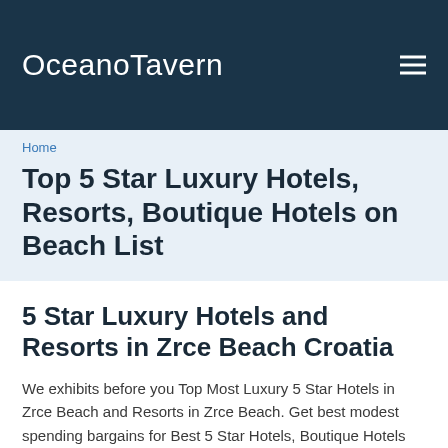OceanoTavern
Home
Top 5 Star Luxury Hotels, Resorts, Boutique Hotels on Beach List
5 Star Luxury Hotels and Resorts in Zrce Beach Croatia
We exhibits before you Top Most Luxury 5 Star Hotels in Zrce Beach and Resorts in Zrce Beach. Get best modest spending bargains for Best 5 Star Hotels, Boutique Hotels and Small Luxury Boutique Hotels and